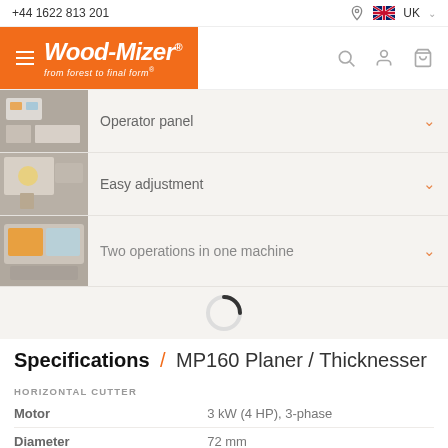+44 1622 813 201 | UK
[Figure (logo): Wood-Mizer logo with orange background, hamburger menu icon, and tagline 'from forest to final form']
Operator panel
Easy adjustment
Two operations in one machine
[Figure (other): Loading spinner (circular progress indicator)]
Specifications / MP160 Planer / Thicknesser
| Property | Value |
| --- | --- |
| HORIZONTAL CUTTER |  |
| Motor | 3 kW (4 HP), 3-phase |
| Diameter | 72 mm |
| Speed | 6000 RPM |
| PLANING |  |